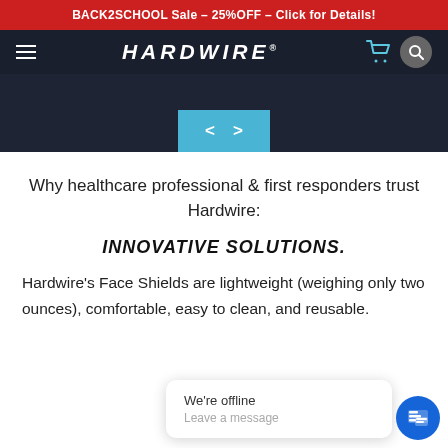BACK2SCHOOL Sale – 25%OFF – Click for Details!
[Figure (screenshot): Hardwire website navigation bar with hamburger menu, logo, cart icon, and search icon on dark background]
[Figure (screenshot): Dark hero area with light blue slider navigation arrows]
Why healthcare professional & first responders trust Hardwire:
INNOVATIVE SOLUTIONS.
Hardwire's Face Shields are lightweight (weighing only two ounces), comfortable, easy to clean, and reusable.
[Figure (screenshot): Chat widget showing 'We're offline / Leave a message' popup with blue chat icon circle]